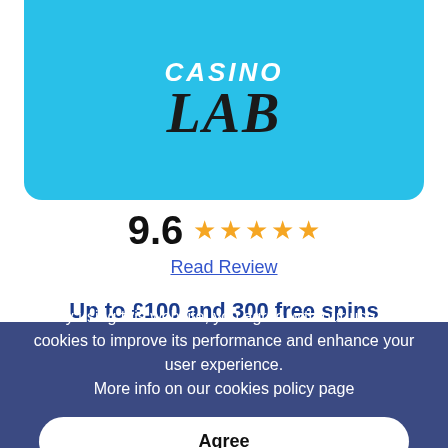[Figure (logo): Casino Lab logo: sky blue rounded rectangle background with 'CASINO' in white italic letters and 'LAB' in large black italic letters below]
9.6 ★★★★★
Read Review
Up to £100 and 300 free spins
By using this website, you agree with our use of cookies to improve its performance and enhance your user experience.
More info on our cookies policy page
Agree